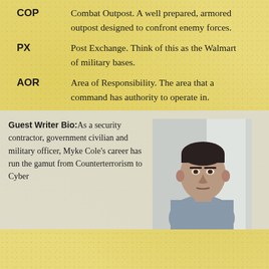COP — Combat Outpost. A well prepared, armored outpost designed to confront enemy forces.
PX — Post Exchange. Think of this as the Walmart of military bases.
AOR — Area of Responsibility. The area that a command has authority to operate in.
Guest Writer Bio: As a security contractor, government civilian and military officer, Myke Cole's career has run the gamut from Counterterrorism to Cyber
[Figure (photo): Headshot of a man in a grey t-shirt, standing indoors against a white wall/door background, looking at camera with a serious expression.]